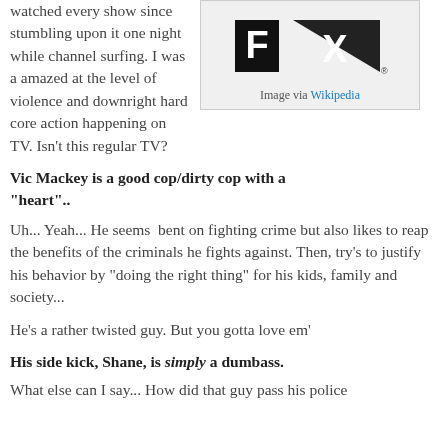watched every show since stumbling upon it one night while channel surfing. I was a amazed at the level of violence and downright hard core action happening on TV.  Isn't this regular TV?
[Figure (logo): FX network logo — black letters FX on white background, triangular shape]
Image via Wikipedia
Vic Mackey is a good cop/dirty cop with a “heart”..
Uh... Yeah... He seems  bent on fighting crime but also likes to reap the benefits of the criminals he fights against. Then, try's to justify his behavior by “doing the right thing” for his kids, family and society...
He’s a rather twisted guy. But you gotta love em’
His side kick, Shane, is simply a dumbass.
What else can I say... How did that guy pass his police